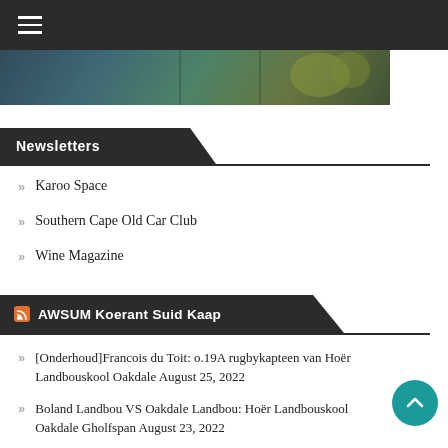[Figure (photo): Dark top navigation bar with hamburger menu icon and a banner image below showing a scenic outdoor scene with trees and water]
Newsletters
Karoo Space
Southern Cape Old Car Club
Wine Magazine
AWSUM Koerant Suid Kaap
[Onderhoud]Francois du Toit: o.19A rugbykapteen van Hoër Landbouskool Oakdale August 25, 2022
Boland Landbou VS Oakdale Landbou: Hoër Landbouskool Oakdale Gholfspan August 23, 2022